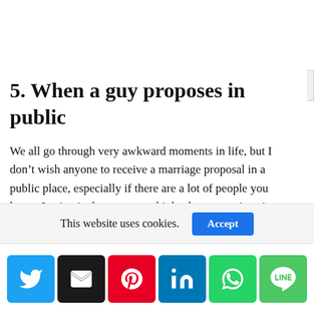5. When a guy proposes in public
We all go through very awkward moments in life, but I don't wish anyone to receive a marriage proposal in a public place, especially if there are a lot of people you know. Instinctively, everyone thinks the answer is going to be positive and the spectators wait impatiently for a chance to applaud
This website uses cookies.
[Figure (infographic): Social sharing buttons: Twitter (blue), Email (black), Pinterest (red), LinkedIn (blue), WhatsApp (green), LINE (green)]